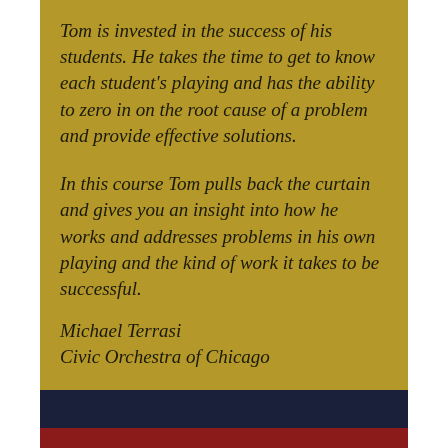Tom is invested in the success of his students. He takes the time to get to know each student's playing and has the ability to zero in on the root cause of a problem and provide effective solutions.
In this course Tom pulls back the curtain and gives you an insight into how he works and addresses problems in his own playing and the kind of work it takes to be successful.
Michael Terrasi
Civic Orchestra of Chicago